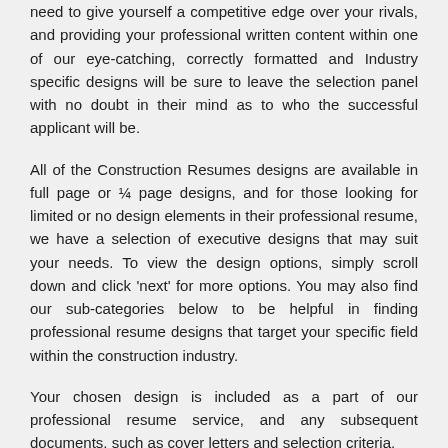need to give yourself a competitive edge over your rivals, and providing your professional written content within one of our eye-catching, correctly formatted and Industry specific designs will be sure to leave the selection panel with no doubt in their mind as to who the successful applicant will be.
All of the Construction Resumes designs are available in full page or ¼ page designs, and for those looking for limited or no design elements in their professional resume, we have a selection of executive designs that may suit your needs. To view the design options, simply scroll down and click 'next' for more options. You may also find our sub-categories below to be helpful in finding professional resume designs that target your specific field within the construction industry.
Your chosen design is included as a part of our professional resume service, and any subsequent documents, such as cover letters and selection criteria,